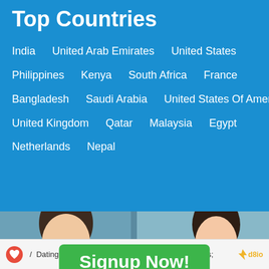Top Countries
India   United Arab Emirates   United States
Philippines   Kenya   South Africa   France
Bangladesh   Saudi Arabia   United States Of America
United Kingdom   Qatar   Malaysia   Egypt
Netherlands   Nepal
[Figure (photo): Two young women photos side by side with green Signup Now! button overlay]
/ Dating / Algeria / Alger / Birkhadem / All Cities;